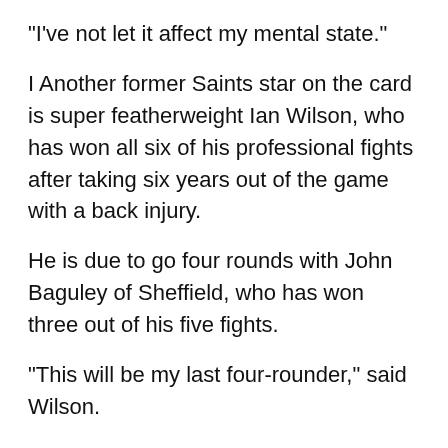"I've not let it affect my mental state."
I Another former Saints star on the card is super featherweight Ian Wilson, who has won all six of his professional fights after taking six years out of the game with a back injury.
He is due to go four rounds with John Baguley of Sheffield, who has won three out of his five fights.
"This will be my last four-rounder," said Wilson.
"I want to prove myself over six because it's another step in the ladder and I know I can do it.